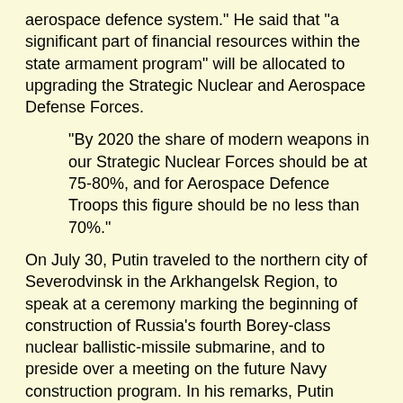aerospace defence system." He said that "a significant part of financial resources within the state armament program" will be allocated to upgrading the Strategic Nuclear and Aerospace Defense Forces.
"By 2020 the share of modern weapons in our Strategic Nuclear Forces should be at 75-80%, and for Aerospace Defence Troops this figure should be no less than 70%."
On July 30, Putin traveled to the northern city of Severodvinsk in the Arkhangelsk Region, to speak at a ceremony marking the beginning of construction of Russia's fourth Borey-class nuclear ballistic-missile submarine, and to preside over a meeting on the future Navy construction program. In his remarks, Putin mentioned both the naval component of Russia's strategic nuclear forces, and the rebuilding of other components of the Navy to defend areas such as the Arctic. The program calls for investing about 4.5 trillion rubles (nearly $150 billion) over the next several years, for the construction of 51 modern surface warships, 16